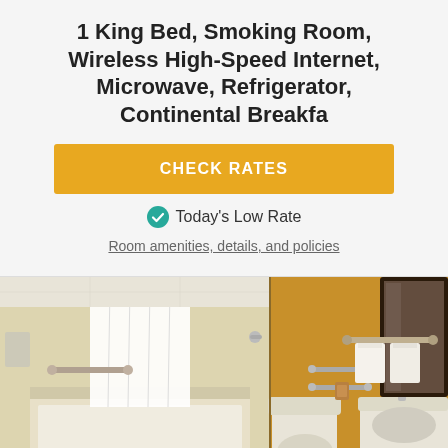1 King Bed, Smoking Room, Wireless High-Speed Internet, Microwave, Refrigerator, Continental Breakfa
CHECK RATES
Today's Low Rate
Room amenities, details, and policies
[Figure (photo): Hotel bathroom photo showing bathtub with shower curtain on left side, toilet and sink visible, golden/tan colored walls, chrome grab bars, towels on rack, dark-framed mirror on right.]